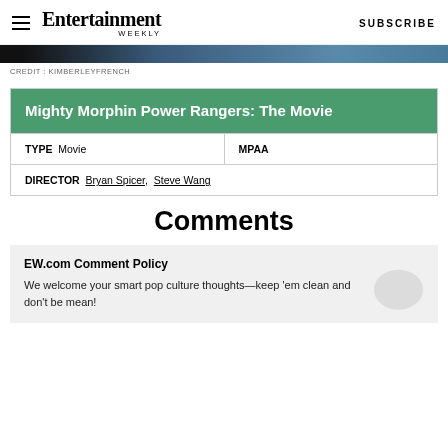Entertainment Weekly  SUBSCRIBE
CREDIT : KIMBERLEYFRENCH
| Mighty Morphin Power Rangers: The Movie |
| --- |
| TYPE  Movie | MPAA |
| DIRECTOR  Bryan Spicer,  Steve Wang |  |
Comments
EW.com Comment Policy

We welcome your smart pop culture thoughts—keep 'em clean and don't be mean!